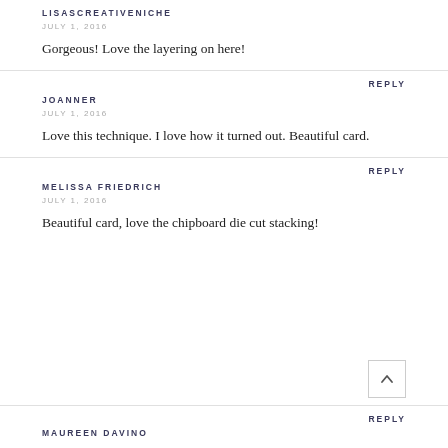LISASCREATIVENICHE
JULY 1, 2016
Gorgeous! Love the layering on here!
REPLY
JOANNER
JULY 1, 2016
Love this technique. I love how it turned out. Beautiful card.
REPLY
MELISSA FRIEDRICH
JULY 1, 2016
Beautiful card, love the chipboard die cut stacking!
REPLY
MAUREEN DAVINO